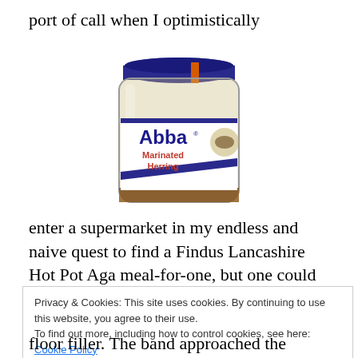port of call when I optimistically
[Figure (photo): A jar of Abba Marinated Herring with a blue lid and white label showing the brand name 'Abba' in blue and 'Marinated Herring' in red text.]
enter a supermarket in my endless and naive quest to find a Findus Lancashire Hot Pot Aga meal-for-one, but one could not help chance upon a familiarly-named jar of fishy
Privacy & Cookies: This site uses cookies. By continuing to use this website, you agree to their use.
To find out more, including how to control cookies, see here: Cookie Policy
floor filler. The band approached the company and